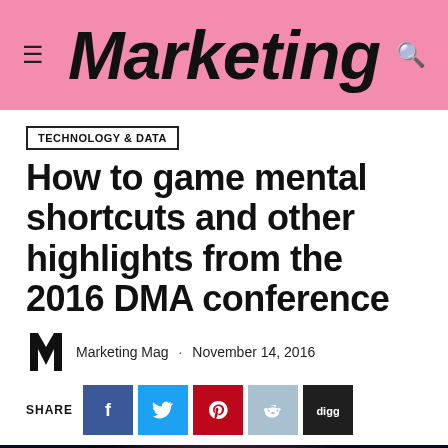Marketing
TECHNOLOGY & DATA
How to game mental shortcuts and other highlights from the 2016 DMA conference
Marketing Mag · November 14, 2016
[Figure (other): Social share buttons: Facebook, Twitter, Pinterest, Reddit, Digg]
[Figure (photo): Brain/neural network glowing image at bottom of page]